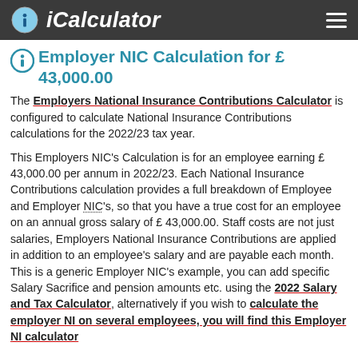iCalculator
Employer NIC Calculation for £ 43,000.00
The Employers National Insurance Contributions Calculator is configured to calculate National Insurance Contributions calculations for the 2022/23 tax year.
This Employers NIC's Calculation is for an employee earning £ 43,000.00 per annum in 2022/23. Each National Insurance Contributions calculation provides a full breakdown of Employee and Employer NIC's, so that you have a true cost for an employee on an annual gross salary of £ 43,000.00. Staff costs are not just salaries, Employers National Insurance Contributions are applied in addition to an employee's salary and are payable each month. This is a generic Employer NIC's example, you can add specific Salary Sacrifice and pension amounts etc. using the 2022 Salary and Tax Calculator, alternatively if you wish to calculate the employer NI on several employees, you will find this Employer NI calculator useful.